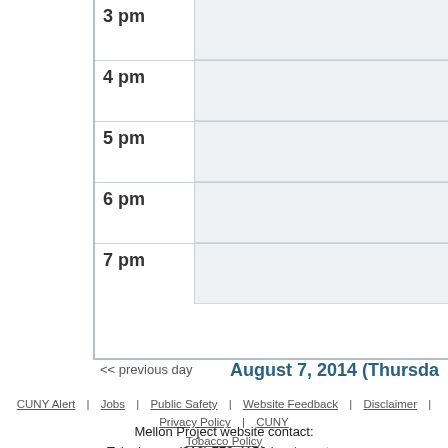| Time | Events |
| --- | --- |
| 3 pm |  |
| 4 pm |  |
| 5 pm |  |
| 6 pm |  |
| 7 pm |  |
<< previous day
August 7, 2014 (Thursday
CUNY Alert  Jobs  Public Safety  Website Feedback  Disclaimer  Privacy Policy  CUNY  Tobacco Policy
Mellon Project website contact:
Telephone : (212) 772-4150 | webmaster